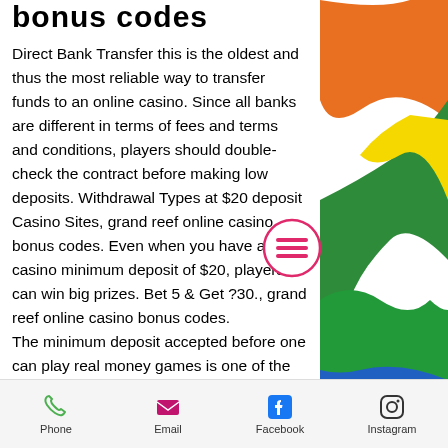bonus codes
Direct Bank Transfer this is the oldest and thus the most reliable way to transfer funds to an online casino. Since all banks are different in terms of fees and terms and conditions, players should double-check the contract before making low deposits. Withdrawal Types at $20 deposit Casino Sites, grand reef online casino bonus codes. Even when you have a casino minimum deposit of $20, players can win big prizes. Bet 5 & Get ?30., grand reef online casino bonus codes.
The minimum deposit accepted before one can play real money games is one of the first things look for in a casino. Most online players are attracted to 5-pound minimum deposit casinos, although they are had to find. Specific aspects need to be considered
[Figure (other): Colorful abstract shapes on the right side of the page — orange, green, yellow, blue colored areas]
[Figure (other): Circular hamburger/menu button with pink/red three-line icon and pink circle border]
Phone  Email  Facebook  Instagram